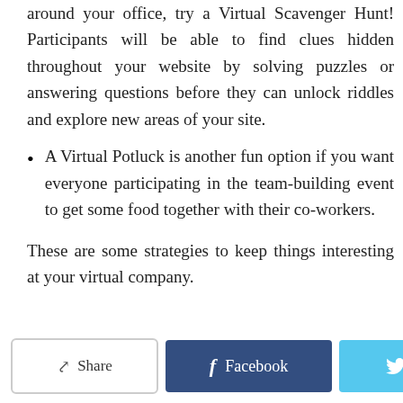around your office, try a Virtual Scavenger Hunt! Participants will be able to find clues hidden throughout your website by solving puzzles or answering questions before they can unlock riddles and explore new areas of your site.
A Virtual Potluck is another fun option if you want everyone participating in the team-building event to get some food together with their co-workers.
These are some strategies to keep things interesting at your virtual company.
Share | Facebook | Twitter | + | ↑